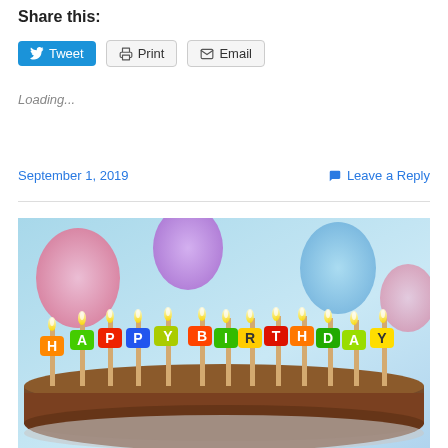Share this:
Tweet | Print | Email
Loading...
September 1, 2019   Leave a Reply
[Figure (photo): A birthday cake with colorful letter-shaped candles spelling HAPPY BIRTHDAY, all lit, on a chocolate cake with balloons in the background.]